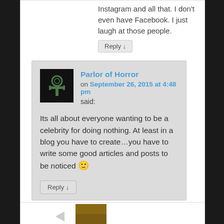Instagram and all that. I don't even have Facebook. I just laugh at those people.
Reply ↓
Parlor of Horror
on September 26, 2015 at 4:48 pm said:
Its all about everyone wanting to be a celebrity for doing nothing. At least in a blog you have to create…you have to write some good articles and posts to be noticed 🙂
Reply ↓